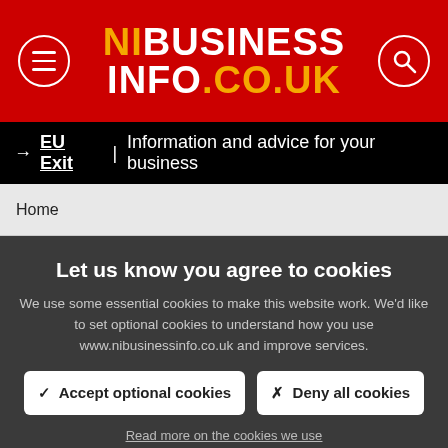NIBUSINESS INFO.CO.UK
→ EU Exit | Information and advice for your business
Home
Let us know you agree to cookies
We use some essential cookies to make this website work. We'd like to set optional cookies to understand how you use www.nibusinessinfo.co.uk and improve services.
✓  Accept optional cookies
✗  Deny all cookies
Read more on the cookies we use